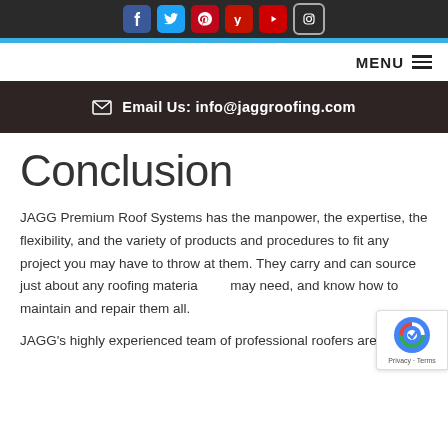Social media icons: Facebook, Twitter, Pinterest, Yelp, YouTube, Instagram
MENU
Email Us: info@jaggroofing.com
Conclusion
JAGG Premium Roof Systems has the manpower, the expertise, the flexibility, and the variety of products and procedures to fit any project you may have to throw at them. They carry and can source just about any roofing material you may need, and know how to maintain and repair them all.
JAGG's highly experienced team of professional roofers are up